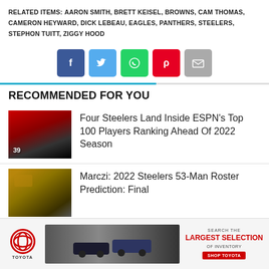RELATED ITEMS: AARON SMITH, BRETT KEISEL, BROWNS, CAM THOMAS, CAMERON HEYWARD, DICK LEBEAU, EAGLES, PANTHERS, STEELERS, STEPHON TUITT, ZIGGY HOOD
[Figure (infographic): Social share buttons: Facebook (blue), Twitter (light blue), WhatsApp (green), Pinterest (red), Email (grey)]
RECOMMENDED FOR YOU
[Figure (photo): Steelers players on field, player numbers 40 and 39 visible]
Four Steelers Land Inside ESPN's Top 100 Players Ranking Ahead Of 2022 Season
[Figure (photo): Steelers football stadium scene, warm golden tones]
Marczi: 2022 Steelers 53-Man Roster Prediction: Final
[Figure (photo): Partial third article thumbnail]
[Figure (infographic): Toyota advertisement banner: Search the Largest Selection of Inventory, Shop Toyota]